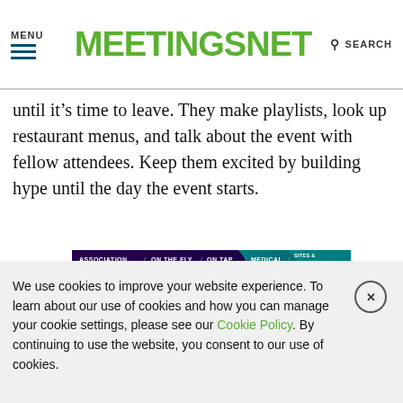MENU  MEETINGSNET  SEARCH
until it’s time to leave. They make playlists, look up restaurant menus, and talk about the event with fellow attendees. Keep them excited by building hype until the day the event starts.
[Figure (screenshot): MeetingsNet magazine cover advertisement showing colorful 3D geometric/abstract shapes on a purple background with text 'MEETINGSNET' and 'View Our Digital Edition'. Navigation bar shows: ASSOCIATION / ON THE FLY / ON TAP / MEDICAL / SITES & VENUES]
We use cookies to improve your website experience. To learn about our use of cookies and how you can manage your cookie settings, please see our Cookie Policy. By continuing to use the website, you consent to our use of cookies.